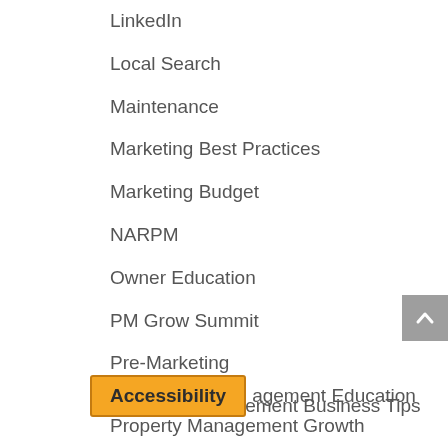LinkedIn
Local Search
Maintenance
Marketing Best Practices
Marketing Budget
NARPM
Owner Education
PM Grow Summit
Pre-Marketing
Property Management Business Tips
Accessibility  Property Management Education
Property Management Growth